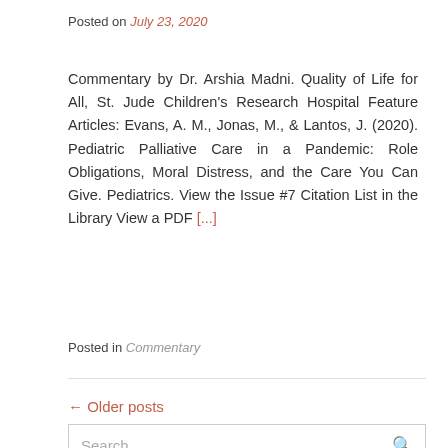Posted on July 23, 2020
Commentary by Dr. Arshia Madni. Quality of Life for All, St. Jude Children's Research Hospital Feature Articles: Evans, A. M., Jonas, M., & Lantos, J. (2020). Pediatric Palliative Care in a Pandemic: Role Obligations, Moral Distress, and the Care You Can Give. Pediatrics. View the Issue #7 Citation List in the Library View a PDF [...]
Posted in Commentary
← Older posts
Search …
Tweets by PedPalASCNet
CITATION LISTS